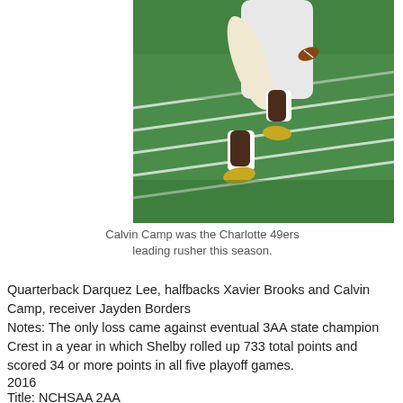[Figure (photo): A football player running on a field, wearing white uniform with gold cleats, on green turf with white yard lines visible]
Calvin Camp was the Charlotte 49ers leading rusher this season.
Quarterback Darquez Lee, halfbacks Xavier Brooks and Calvin Camp, receiver Jayden Borders
Notes: The only loss came against eventual 3AA state champion Crest in a year in which Shelby rolled up 733 total points and scored 34 or more points in all five playoff games.
2016
Title: NCHSAA 2AA